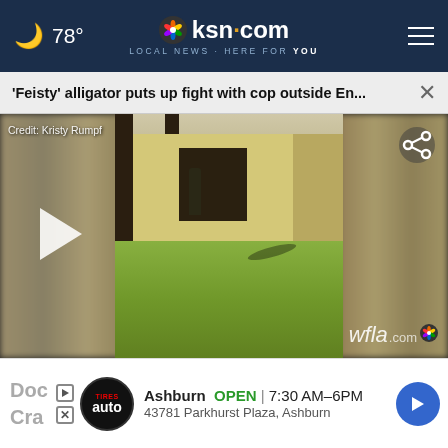🌙 78° | ksn.com LOCAL NEWS · HERE FOR YOU
'Feisty' alligator puts up fight with cop outside En...
[Figure (screenshot): Video thumbnail showing exterior of building with grass lawn; a person visible near doorway. Credit: Kristy Rumpf. wfla.com watermark bottom right. Play button on left side.]
Ashburn   OPEN | 7:30 AM–6PM
43781 Parkhurst Plaza, Ashburn